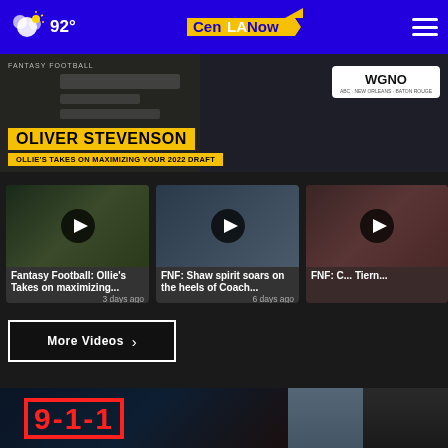92° CenLA Now
[Figure (screenshot): Hero video banner: Fantasy Football Oliver Stevenson - Ollie's Takes on Maximizing Your 2022 Draft, with WGNO logo]
[Figure (screenshot): Video card thumbnail 1: Fantasy Football Ollie's Takes on maximizing...]
Fantasy Football: Ollie's Takes on maximizing...
3 days ago
[Figure (screenshot): Video card thumbnail 2: FNF: Shaw spirit soars on the heels of Coach...]
FNF: Shaw spirit soars on the heels of Coach...
6 days ago
[Figure (screenshot): Video card thumbnail 3 (partial): FNF: C... Tiern...]
More Videos ›
[Figure (screenshot): 9-1-1 TV show advertisement banner at bottom with two actors]